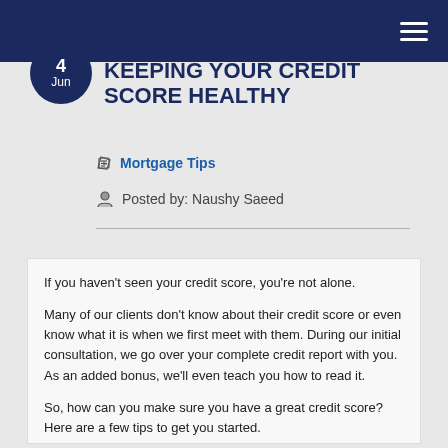Navigation bar with hamburger menu
KEEPING YOUR CREDIT SCORE HEALTHY
4 Jun
Mortgage Tips
Posted by: Naushy Saeed
If you haven't seen your credit score, you're not alone.
Many of our clients don't know about their credit score or even know what it is when we first meet with them. During our initial consultation, we go over your complete credit report with you. As an added bonus, we'll even teach you how to read it.
So, how can you make sure you have a great credit score? Here are a few tips to get you started.